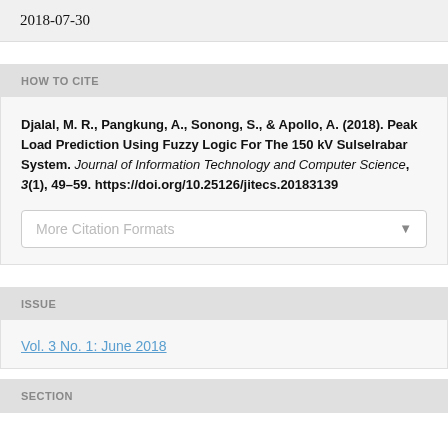2018-07-30
HOW TO CITE
Djalal, M. R., Pangkung, A., Sonong, S., & Apollo, A. (2018). Peak Load Prediction Using Fuzzy Logic For The 150 kV Sulselrabar System. Journal of Information Technology and Computer Science, 3(1), 49–59. https://doi.org/10.25126/jitecs.20183139
ISSUE
Vol. 3 No. 1: June 2018
SECTION